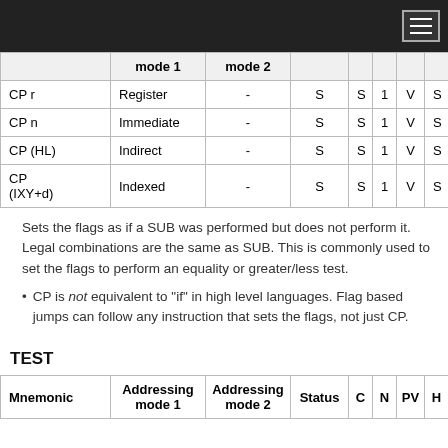[navigation bar with hamburger menu]
|  | mode 1 | mode 2 | Status | C | N | PV | H | S |
| --- | --- | --- | --- | --- | --- | --- | --- | --- |
| CP r | Register | - | S | S | 1 | V | S | S |
| CP n | Immediate | - | S | S | 1 | V | S | S |
| CP (HL) | Indirect | - | S | S | 1 | V | S | S |
| CP (IXY+d) | Indexed | - | S | S | 1 | V | S | S |
Sets the flags as if a SUB was performed but does not perform it. Legal combinations are the same as SUB. This is commonly used to set the flags to perform an equality or greater/less test.
CP is not equivalent to "if" in high level languages. Flag based jumps can follow any instruction that sets the flags, not just CP.
TEST
| Mnemonic | Addressing mode 1 | Addressing mode 2 | Status | C | N | PV | H | Z |
| --- | --- | --- | --- | --- | --- | --- | --- | --- |